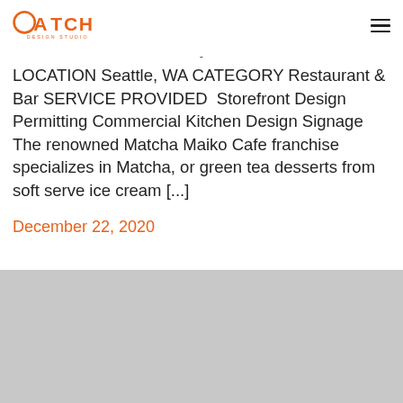CATCH DESIGN STUDIO
LOCATION Seattle, WA CATEGORY Restaurant & Bar SERVICE PROVIDED Storefront Design Permitting Commercial Kitchen Design Signage The renowned Matcha Maiko Cafe franchise specializes in Matcha, or green tea desserts from soft serve ice cream [...]
December 22, 2020
[Figure (photo): Gray placeholder image area at the bottom of the page]